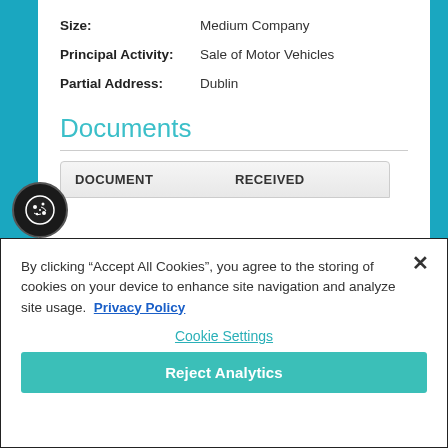Size: Medium Company
Principal Activity: Sale of Motor Vehicles
Partial Address: Dublin
Documents
| DOCUMENT | RECEIVED |
| --- | --- |
By clicking "Accept All Cookies", you agree to the storing of cookies on your device to enhance site navigation and analyze site usage. Privacy Policy
Cookie Settings
Reject Analytics